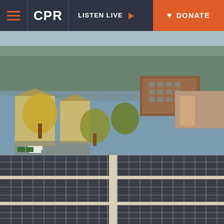CPR | LISTEN LIVE | DONATE
[Figure (photo): Aerial view of rooftop solar panels in the foreground with a small city neighborhood in the background, including residential and commercial buildings, parking lots, and trees with autumn foliage, and forested hills in the distance.]